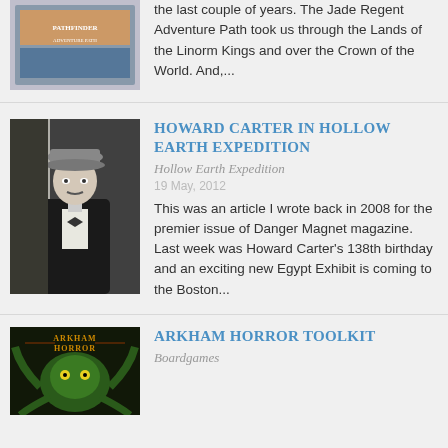[Figure (photo): Pathfinder RPG product cover image - partial view at top]
...Northern Finder has been a lot of activity over the last couple of years. The Jade Regent Adventure Path took us through the Lands of the Linorm Kings and over the Crown of the World. And,...
[Figure (photo): Black and white photograph of Howard Carter, a man in a suit and hat holding items]
HOWARD CARTER IN HOLLOW EARTH EXPEDITION
Hollow Earth Expedition
19 May, 2012
This was an article I wrote back in 2008 for the premier issue of Danger Magnet magazine. Last week was Howard Carter's 138th birthday and an exciting new Egypt Exhibit is coming to the Boston...
[Figure (illustration): Arkham Horror board game cover art - green tentacled creature, spooky illustration]
ARKHAM HORROR TOOLKIT
Boardgames